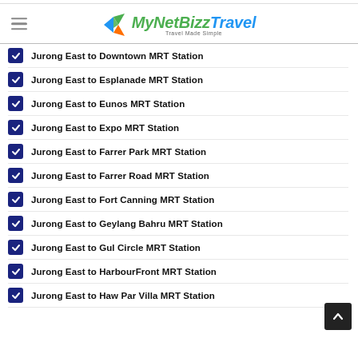MyNetBizz Travel — Travel Made Simple
Jurong East to Downtown MRT Station
Jurong East to Esplanade MRT Station
Jurong East to Eunos MRT Station
Jurong East to Expo MRT Station
Jurong East to Farrer Park MRT Station
Jurong East to Farrer Road MRT Station
Jurong East to Fort Canning MRT Station
Jurong East to Geylang Bahru MRT Station
Jurong East to Gul Circle MRT Station
Jurong East to HarbourFront MRT Station
Jurong East to Haw Par Villa MRT Station